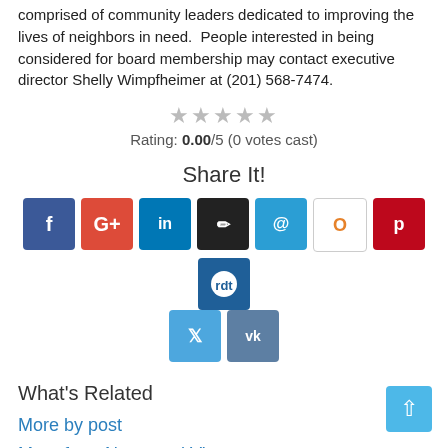comprised of community leaders dedicated to improving the lives of neighbors in need. People interested in being considered for board membership may contact executive director Shelly Wimpfheimer at (201) 568-7474.
Rating: 0.00/5 (0 votes cast)
Share It!
[Figure (other): Social share buttons: Facebook, Google+, LinkedIn, Edit/Copy, Email, Odnoklassniki, Pinterest, Reddit, Twitter, VK]
What's Related
More by post
More from News and Views